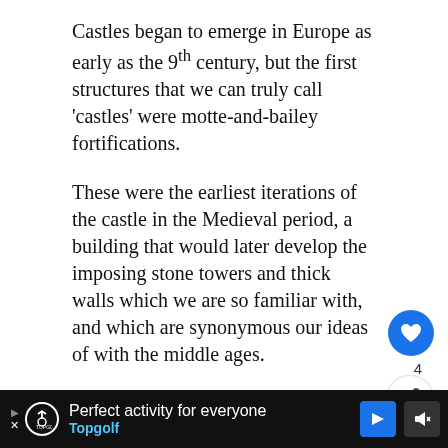Castles began to emerge in Europe as early as the 9th century, but the first structures that we can truly call 'castles' were motte-and-bailey fortifications.
These were the earliest iterations of the castle in the Medieval period, a building that would later develop the imposing stone towers and thick walls which we are so familiar with, and which are synonymous our ideas of with the middle ages.
Essentially, motte-and-bailey castles were made up of a motte, a large earthwork – atop which stood a (usually wooden) keep – and a bailey, a compound beside the motte, containing various buildings surrounded by some form of wooden fencing.
[Figure (screenshot): UI elements: heart/like button (blue circle), share count '4', share button, and a 'WHAT'S NEXT' card showing 'Castle Design Through the...']
[Figure (infographic): Advertisement bar at the bottom: Topgolf ad reading 'Perfect activity for everyone' with Topgolf logo, blue arrow icon, and mute/audio icon on black background.]